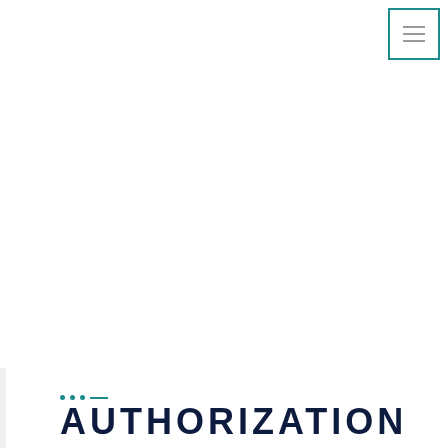[Figure (other): Navigation menu button with three horizontal lines (hamburger icon) in a teal-bordered square, positioned top-right]
AUTHORIZATION